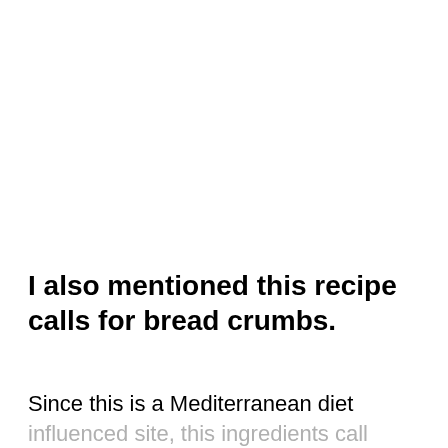I also mentioned this recipe calls for bread crumbs.
Since this is a Mediterranean diet influenced site, this ingredients call